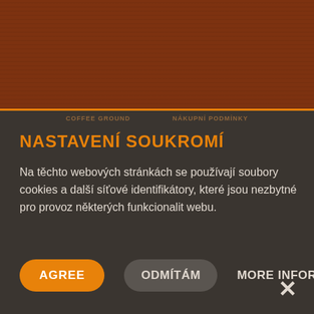[Figure (screenshot): Brown background header area of a website with orange horizontal separator line and faint navigation text]
NASTAVENÍ SOUKROMÍ
Na těchto webových stránkách se používají soubory cookies a další síťové identifikátory, které jsou nezbytné pro provoz některých funkcionalit webu.
AGREE  ODMÍTÁM  MORE INFORMATION
×